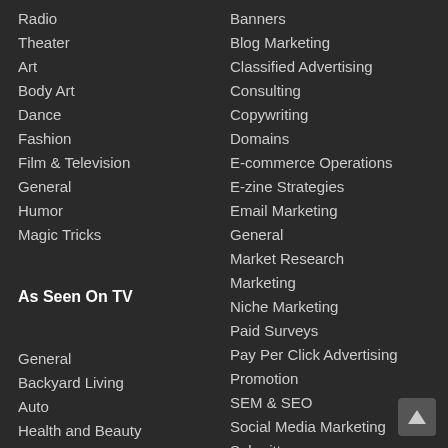Radio
Theater
Art
Body Art
Dance
Fashion
Film & Television
General
Humor
Magic Tricks
As Seen On TV
General
Backyard Living
Auto
Health and Beauty
Kitchen Tools and Gadgets
Banners
Blog Marketing
Classified Advertising
Consulting
Copywriting
Domains
E-commerce Operations
E-zine Strategies
Email Marketing
General
Market Research
Marketing
Niche Marketing
Paid Surveys
Pay Per Click Advertising
Promotion
SEM & SEO
Social Media Marketing
Submitters
Video Marketing